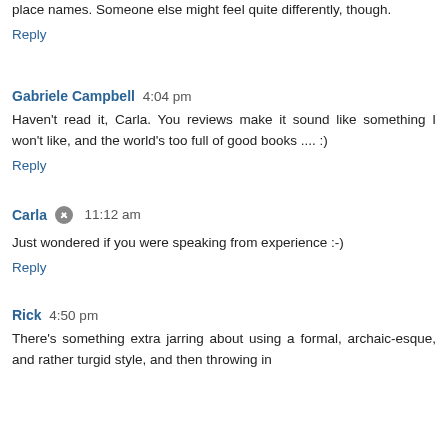place names. Someone else might feel quite differently, though.
Reply
Gabriele Campbell  4:04 pm
Haven't read it, Carla. You reviews make it sound like something I won't like, and the world's too full of good books .... :)
Reply
Carla  11:12 am
Just wondered if you were speaking from experience :-)
Reply
Rick  4:50 pm
There's something extra jarring about using a formal, archaic-esque, and rather turgid style, and then throwing in